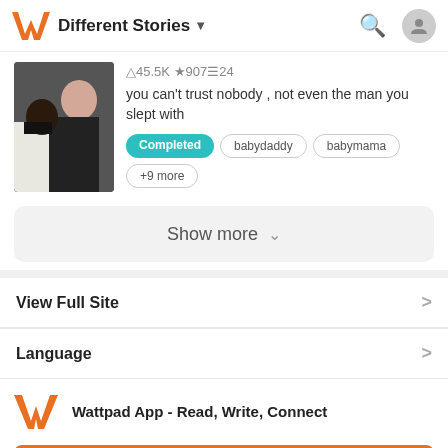Different Stories
45.5K 907 24
you can't trust nobody , not even the man you slept with
Completed  babydaddy  babymama  +9 more
Show more
View Full Site
Language
Wattpad App - Read, Write, Connect
Start Reading
Log in with Browser